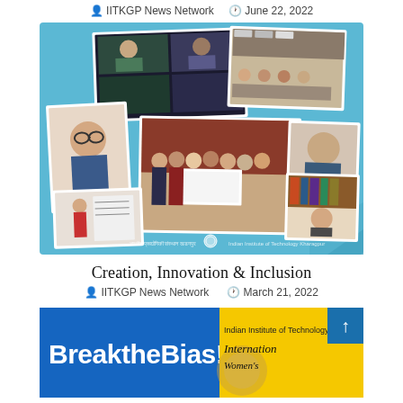IITKGP News Network   June 22, 2022
[Figure (photo): Collage of multiple photos on a blue background showing various events including video conference meetings, award ceremonies, and presentations related to IIT Kharagpur activities. Text at bottom reads: 'bhartiya prodyogiki sansthan kharagpur' with IIT KGP logo.]
Creation, Innovation & Inclusion
IITKGP News Network   March 21, 2022
[Figure (photo): Promotional banner showing 'BreaktheBias!' text in bold white on blue background on the left, and on the right yellow background with 'Indian Institute of Technology' and 'International Women's Day' partial text visible.]